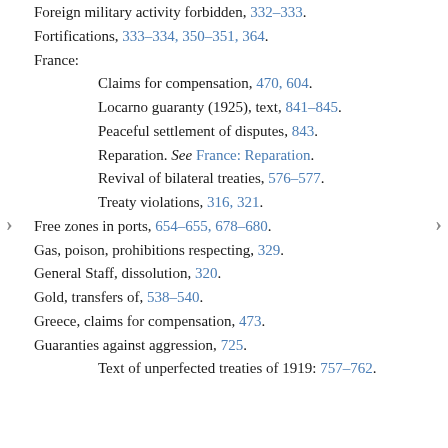Foreign military activity forbidden, 332–333.
Fortifications, 333–334, 350–351, 364.
France:
Claims for compensation, 470, 604.
Locarno guaranty (1925), text, 841–845.
Peaceful settlement of disputes, 843.
Reparation. See France: Reparation.
Revival of bilateral treaties, 576–577.
Treaty violations, 316, 321.
Free zones in ports, 654–655, 678–680.
Gas, poison, prohibitions respecting, 329.
General Staff, dissolution, 320.
Gold, transfers of, 538–540.
Greece, claims for compensation, 473.
Guaranties against aggression, 725.
Text of unperfected treaties of 1919: 757–762.